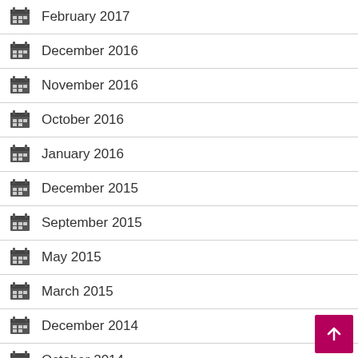February 2017
December 2016
November 2016
October 2016
January 2016
December 2015
September 2015
May 2015
March 2015
December 2014
October 2014
July 2014
April 2014